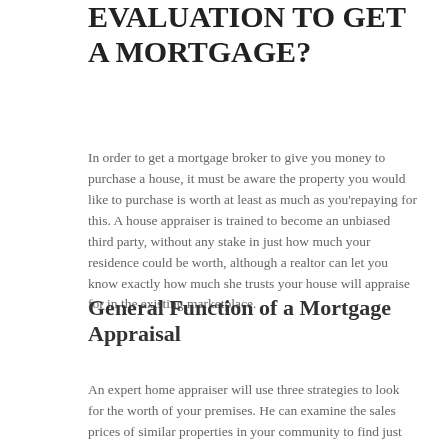EVALUATION TO GET A MORTGAGE?
In order to get a mortgage broker to give you money to purchase a house, it must be aware the property you would like to purchase is worth at least as much as you&#039;repaying for this. A house appraiser is trained to become an unbiased third party, without any stake in just how much your residence could be worth, although a realtor can let you know exactly how much she trusts your house will appraise for in the existing marketplace.
General Function of a Mortgage Appraisal
An expert home appraiser will use three strategies to look for the worth of your premises. He can examine the sales prices of similar properties in your community to find just how much houses have sold for. He can use reports in the Multiple Listing Services, California